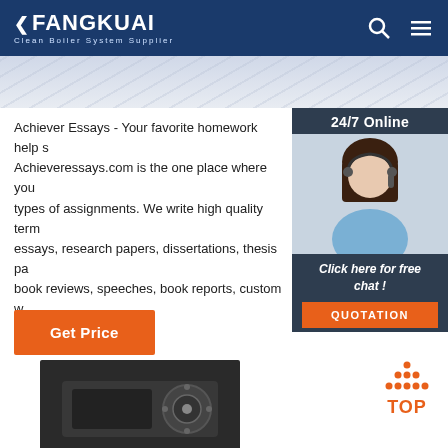FANGKUAI Clean Boiler System Supplier
[Figure (photo): Hero strip showing engineering/blueprint drawings]
Achiever Essays - Your favorite homework help s... Achieveressays.com is the one place where you types of assignments. We write high quality term essays, research papers, dissertations, thesis pa book reviews, speeches, book reports, custom w business papers.
[Figure (photo): Customer service representative with headset, labeled 24/7 Online with Click here for free chat! and QUOTATION button]
Get Price
[Figure (photo): Bottom portion of industrial boiler/burner equipment in dark casing]
[Figure (other): TOP button with orange dot triangle icon]